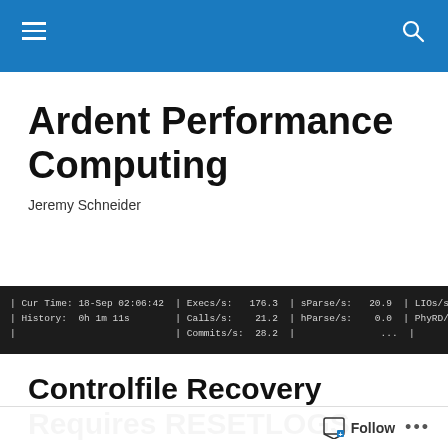Navigation bar with hamburger menu and search icon
Ardent Performance Computing
Jeremy Schneider
[Figure (screenshot): Terminal/database monitoring screen showing: Cur Time: 18-Sep 02:06:42 | Execs/s: 176.3 | sParse/s: 20.9 | LIOs/s: ... | History: 0h 1m 11s | Calls/s: 21.2 | hParse/s: 0.0 | PhyRD/s: ... | Commits/s: 28.2 | ...]
Controlfile Recovery Requires RESETLOGS
In response to a small discussion on the oracle-l mailing list last week, I thought I'd put together a quick demo of
Follow ...